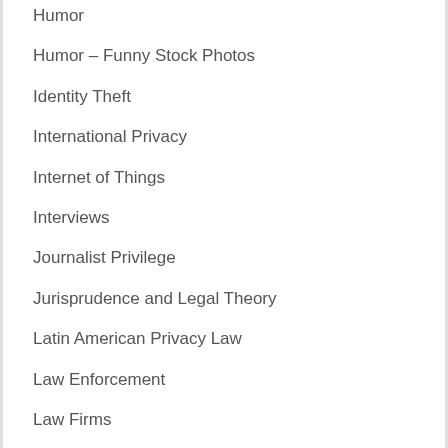Humor
Humor – Funny Stock Photos
Identity Theft
International Privacy
Internet of Things
Interviews
Journalist Privilege
Jurisprudence and Legal Theory
Latin American Privacy Law
Law Enforcement
Law Firms
Lawsuits